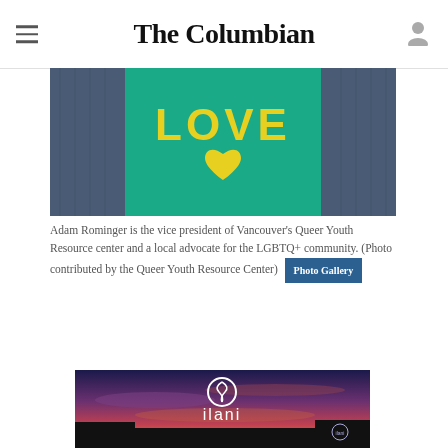The Columbian
[Figure (photo): Close-up of a person wearing a teal/turquoise 'LOVE' t-shirt with a yellow heart graphic, over a blue patterned cardigan]
Adam Rominger is the vice president of Vancouver's Queer Youth Resource center and a local advocate for the LGBTQ+ community. (Photo contributed by the Queer Youth Resource Center) [Photo Gallery]
[Figure (photo): Ilani casino advertisement showing the ilani logo sign against a colorful sunset sky]